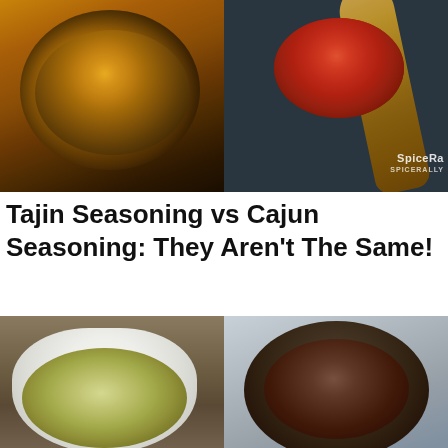[Figure (photo): Two food photos side by side: left shows a dark bowl with golden-orange spice seasoning (Tajin), right shows a wooden spoon heaped with bright red-orange spice (Cajun seasoning) on a dark blue-gray background with SpiceRally watermark]
Tajin Seasoning vs Cajun Seasoning: They Aren't The Same!
[Figure (photo): Two food photos side by side: left shows a white bowl with light green-yellow spice on a wood table, right shows a dark bowl with dark brown-red spice on a light gray background]
[Figure (other): Orange advertisement banner: 'Help send medical aid to Ukraine >>' with Direct Relief logo and name on the right]